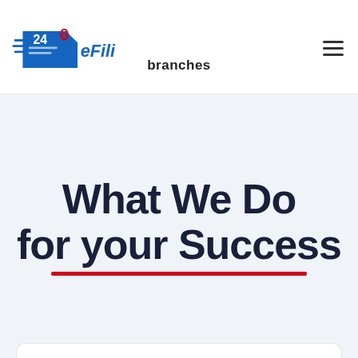[Figure (logo): 24eFiling logo with blue speed-document icon and red paperclip, blue bold text '24eFiling']
branches
What We Do for your Success